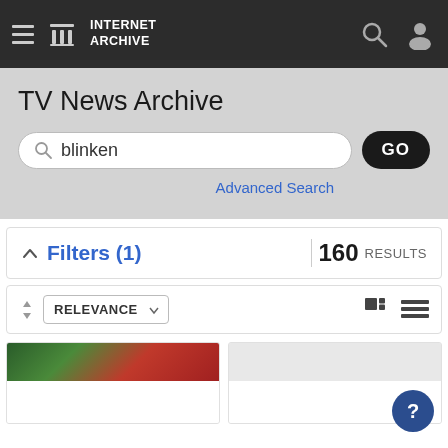INTERNET ARCHIVE
TV News Archive
blinken
GO
Advanced Search
Filters (1)
160 RESULTS
RELEVANCE
[Figure (screenshot): Two result cards from TV News Archive search for 'blinken', showing thumbnail previews of video results]
?